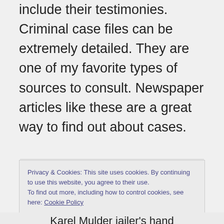The court records should include their testimonies. Criminal case files can be extremely detailed. They are one of my favorite types of sources to consult. Newspaper articles like these are a great way to find out about cases.
Privacy & Cookies: This site uses cookies. By continuing to use this website, you agree to their use.
To find out more, including how to control cookies, see here: Cookie Policy
Close and accept
Karel Mulder jailer's hand